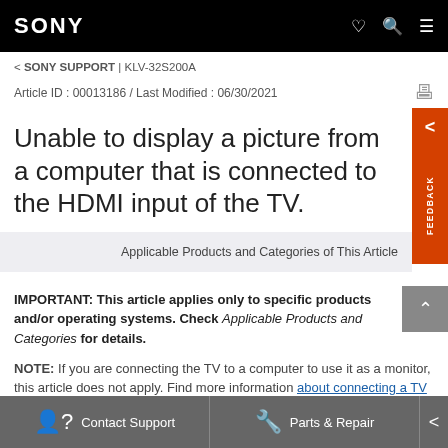SONY
< SONY SUPPORT | KLV-32S200A
Article ID : 00013186 / Last Modified : 06/30/2021
Unable to display a picture from a computer that is connected to the HDMI input of the TV.
Applicable Products and Categories of This Article
IMPORTANT: This article applies only to specific products and/or operating systems. Check Applicable Products and Categories for details.
NOTE: If you are connecting the TV to a computer to use it as a monitor, this article does not apply. Find more information about connecting a TV to a computer for use as a monitor.